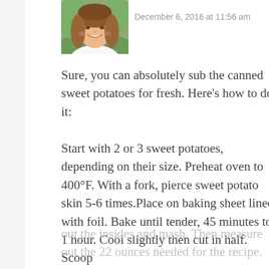[Figure (photo): Profile photo of a smiling woman with brown hair]
December 6, 2016 at 11:56 am
Sure, you can absolutely sub the canned sweet potatoes for fresh. Here’s how to do it:

Start with 2 or 3 sweet potatoes, depending on their size. Preheat oven to 400°F. With a fork, pierce sweet potato skin 5-6 times.Place on baking sheet lined with foil. Bake until tender, 45 minutes to 1 hour. Cool slightly then cut in half. Scoop out the insides and mash. Then measure out the 22 ounces needed for the recipe.